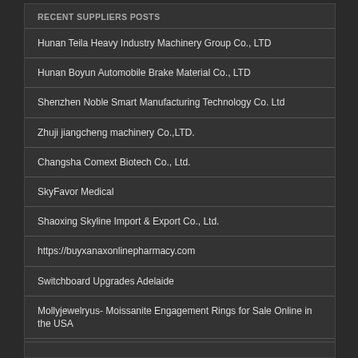RECENT SUPPLIERS POSTS
Hunan Teila Heavy Industry Machinery Group Co., LTD
Hunan Boyun Automobile Brake Material Co., LTD
Shenzhen Noble Smart Manufacturing Technology Co. Ltd
Zhuji jiangcheng machinery Co.,LTD.
Changsha Comext Biotech Co., Ltd.
SkyFavor Medical
Shaoxing Skyline Import & Export Co., Ltd.
https://buyxanaxonlinepharmacy.com
Switchboard Upgrades Adelaide
Mollyjewelryus- Moissanite Engagement Rings for Sale Online in the USA
More